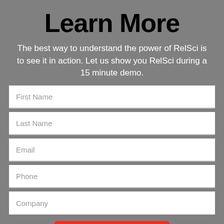Learn More
The best way to understand the power of RelSci is to see it in action. Let us show you RelSci during a 15 minute demo.
[Figure (other): Web form with input fields for First Name, Last Name, Email, Phone, Company, and a Learn More submit button on a gray background]